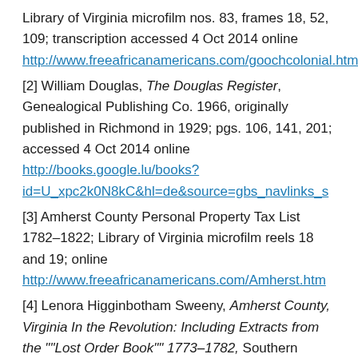Library of Virginia microfilm nos. 83, frames 18, 52, 109; transcription accessed 4 Oct 2014 online http://www.freeafricanamericans.com/goochcolonial.htm
[2] William Douglas, The Douglas Register, Genealogical Publishing Co. 1966, originally published in Richmond in 1929; pgs. 106, 141, 201; accessed 4 Oct 2014 online http://books.google.lu/books?id=U_xpc2k0N8kC&hl=de&source=gbs_navlinks_s
[3] Amherst County Personal Property Tax List 1782-1822; Library of Virginia microfilm reels 18 and 19; online http://www.freeafricanamericans.com/Amherst.htm
[4] Lenora Higginbotham Sweeny, Amherst County, Virginia In the Revolution: Including Extracts from the ""Lost Order Book"" 1773-1782, Southern Historical ...